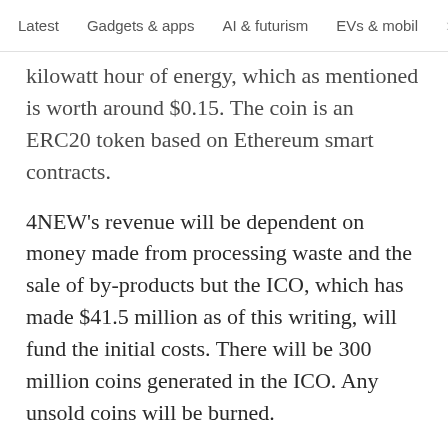Latest   Gadgets & apps   AI & futurism   EVs & mobil  >
…y…p. 55 kilowatt hour of energy, which as mentioned is worth around $0.15. The coin is an ERC20 token based on Ethereum smart contracts.
4NEW's revenue will be dependent on money made from processing waste and the sale of by-products but the ICO, which has made $41.5 million as of this writing, will fund the initial costs. There will be 300 million coins generated in the ICO. Any unsold coins will be burned.
Beyond that, the coin will allow for the operating of the infrastructure for users that will standardize transaction fees. Long term, the company envisions the KWATT as being the standard for energy and…